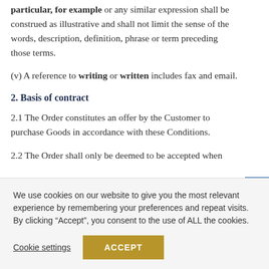particular, for example or any similar expression shall be construed as illustrative and shall not limit the sense of the words, description, definition, phrase or term preceding those terms.
(v) A reference to writing or written includes fax and email.
2. Basis of contract
2.1 The Order constitutes an offer by the Customer to purchase Goods in accordance with these Conditions.
2.2 The Order shall only be deemed to be accepted when
We use cookies on our website to give you the most relevant experience by remembering your preferences and repeat visits. By clicking “Accept”, you consent to the use of ALL the cookies.